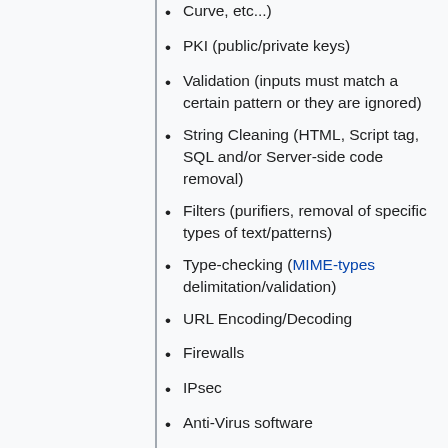... Curve, etc...)
PKI (public/private keys)
Validation (inputs must match a certain pattern or they are ignored)
String Cleaning (HTML, Script tag, SQL and/or Server-side code removal)
Filters (purifiers, removal of specific types of text/patterns)
Type-checking (MIME-types delimitation/validation)
URL Encoding/Decoding
Firewalls
IPsec
Anti-Virus software
[62]
Auth
Authentication